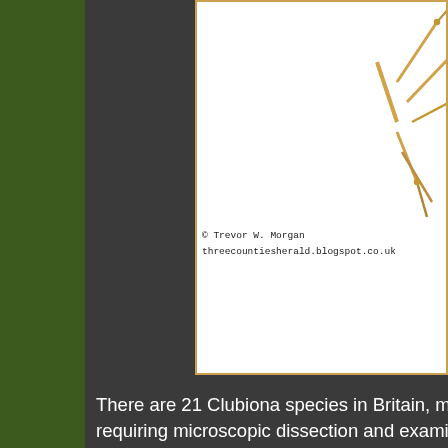[Figure (photo): Partial view of a spider (legs visible) on white background, with photographer credit. © Trevor W. Morgan, threecountiesherald.blogspot.co.uk]
© Trevor W. Morgan
threecountiesherald.blogspot.co.uk
There are 21 Clubiona species in Britain, most requiring microscopic dissection and examination of the genitalia to identify them.
Sand Bear-spider - Arctosa perita ♂ Body le…
[Figure (photo): Photograph of a sand bear-spider (Arctosa perita) camouflaged on sandy/rocky ground.]